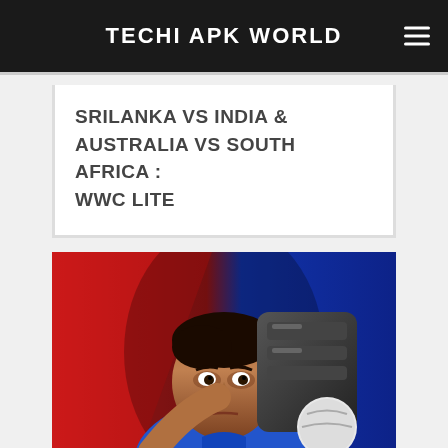TECHI APK WORLD
SRILANKA VS INDIA & AUSTRALIA VS SOUTH AFRICA : WWC LITE
[Figure (photo): Cricket player (batsman) looking intensely at camera holding a cricket bat, with red and blue background suggesting a dramatic action poster]